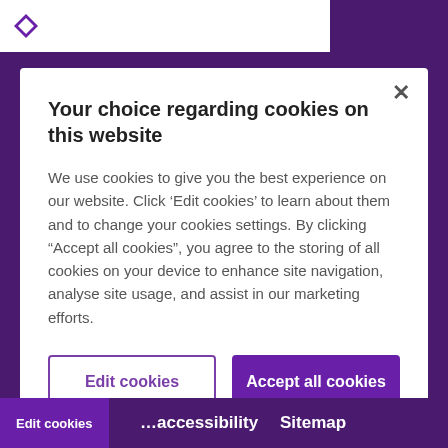[Figure (screenshot): Cookie consent modal dialog overlaid on a purple website background. The modal has a white background with a close X button, a bold title, descriptive text, and two buttons: Edit cookies and Accept all cookies. The background shows a purple header and footer bar.]
Your choice regarding cookies on this website
We use cookies to give you the best experience on our website. Click ‘Edit cookies’ to learn about them and to change your cookies settings. By clicking “Accept all cookies”, you agree to the storing of all cookies on your device to enhance site navigation, analyse site usage, and assist in our marketing efforts.
Edit cookies
Accept all cookies
Edit cookies   accessibility   Sitemap